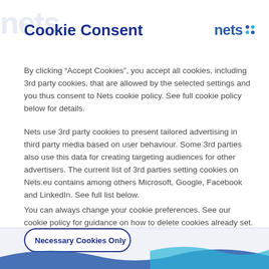Cookie Consent
[Figure (logo): Nets company logo with blue text 'nets' and cyan/blue dot pattern]
By clicking “Accept Cookies”, you accept all cookies, including 3rd party cookies, that are allowed by the selected settings and you thus consent to Nets cookie policy. See full cookie policy below for details.
Nets use 3rd party cookies to present tailored advertising in third party media based on user behaviour. Some 3rd parties also use this data for creating targeting audiences for other advertisers. The current list of 3rd parties setting cookies on Nets.eu contains among others Microsoft, Google, Facebook and LinkedIn. See full list below.
You can always change your cookie preferences. See our cookie policy for guidance on how to delete cookies already set.
Necessary Cookies Only